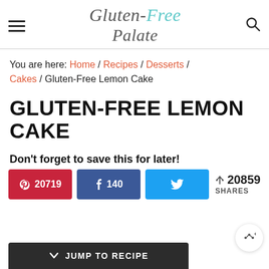Gluten-Free Palate (logo/navigation header)
You are here: Home / Recipes / Desserts / Cakes / Gluten-Free Lemon Cake
GLUTEN-FREE LEMON CAKE
Don't forget to save this for later!
Pinterest 20719 | Facebook 140 | Twitter | 20859 SHARES
JUMP TO RECIPE